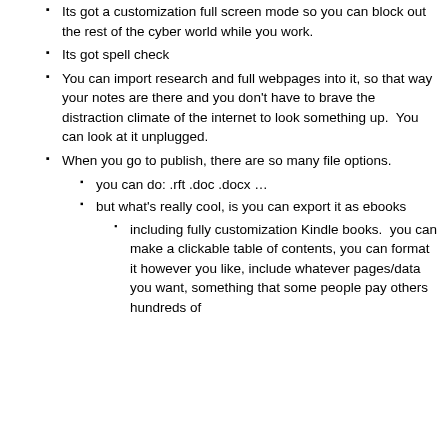Its got a customization full screen mode so you can block out the rest of the cyber world while you work.
Its got spell check
You can import research and full webpages into it, so that way your notes are there and you don't have to brave the distraction climate of the internet to look something up.  You can look at it unplugged.
When you go to publish, there are so many file options.
you can do: .rft .doc .docx …
but what's really cool, is you can export it as ebooks
including fully customization Kindle books.  you can make a clickable table of contents, you can format it however you like, include whatever pages/data you want, something that some people pay others hundreds of